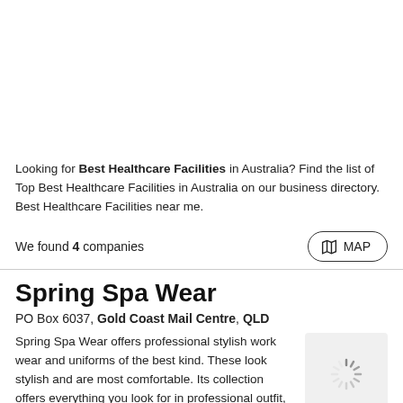Looking for Best Healthcare Facilities in Australia? Find the list of Top Best Healthcare Facilities in Australia on our business directory. Best Healthcare Facilities near me.
We found 4 companies
Spring Spa Wear
PO Box 6037, Gold Coast Mail Centre, QLD
Spring Spa Wear offers professional stylish work wear and uniforms of the best kind. These look stylish and are most comfortable. Its collection offers everything you look for in professional outfit, ...
[Figure (other): Loading spinner image placeholder for Spring Spa Wear listing]